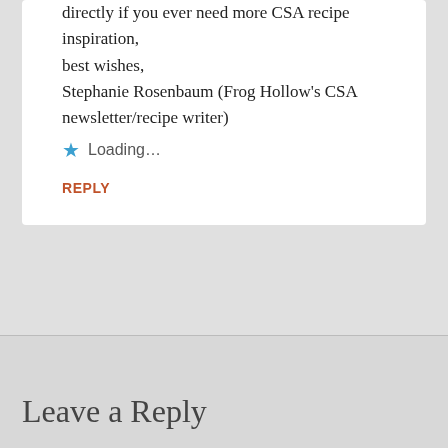directly if you ever need more CSA recipe inspiration,
best wishes,
Stephanie Rosenbaum (Frog Hollow's CSA newsletter/recipe writer)
Loading...
REPLY
Leave a Reply